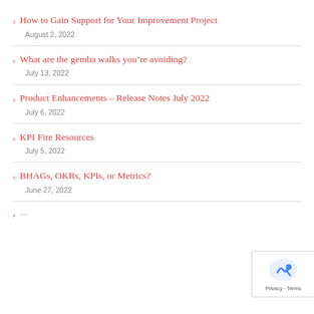> How to Gain Support for Your Improvement Project
August 2, 2022
> What are the gemba walks you're avoiding?
July 13, 2022
> Product Enhancements – Release Notes July 2022
July 6, 2022
> KPI Fire Resources
July 5, 2022
> BHAGs, OKRs, KPIs, or Metrics?
June 27, 2022
> ...